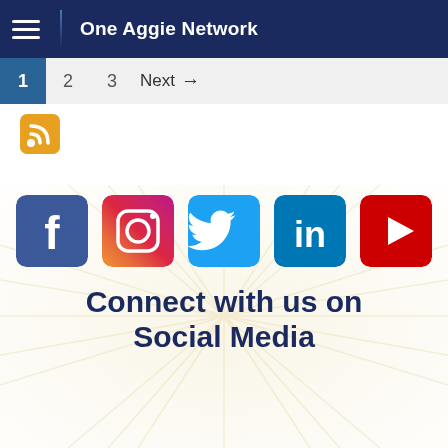One Aggie Network
1  2  3  Next →
[Figure (other): RSS feed icon (orange square with RSS symbol)]
[Figure (infographic): Social media icons row (Facebook, Instagram, Twitter, LinkedIn, YouTube) on sunburst background with text 'Connect with us on Social Media']